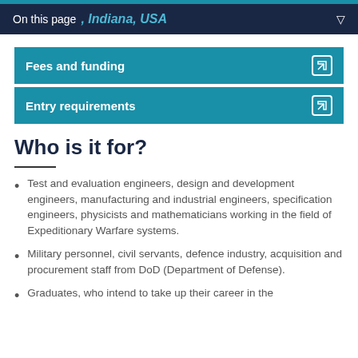On this page   Indiana, USA
Fees and funding
Entry requirements
Who is it for?
Test and evaluation engineers, design and development engineers, manufacturing and industrial engineers, specification engineers, physicists and mathematicians working in the field of Expeditionary Warfare systems.
Military personnel, civil servants, defence industry, acquisition and procurement staff from DoD (Department of Defense).
Graduates, who intend to take up their career in the